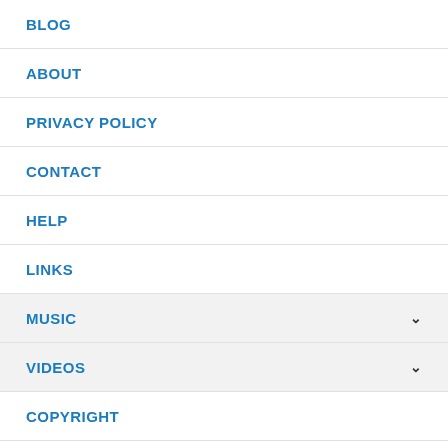BLOG
ABOUT
PRIVACY POLICY
CONTACT
HELP
LINKS
MUSIC
VIDEOS
COPYRIGHT